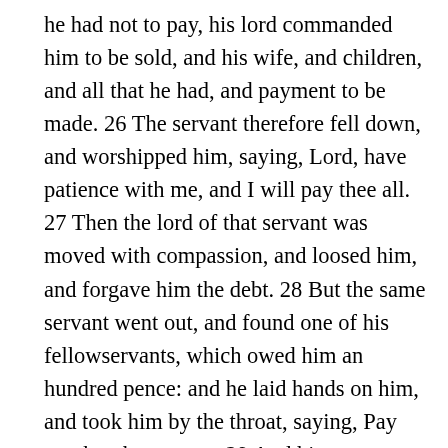he had not to pay, his lord commanded him to be sold, and his wife, and children, and all that he had, and payment to be made. 26 The servant therefore fell down, and worshipped him, saying, Lord, have patience with me, and I will pay thee all. 27 Then the lord of that servant was moved with compassion, and loosed him, and forgave him the debt. 28 But the same servant went out, and found one of his fellowservants, which owed him an hundred pence: and he laid hands on him, and took him by the throat, saying, Pay me that thou owest. 29 And his fellowservant fell down at his feet, and besought him, saying, Have patience with me, and I will pay thee all. 30 And he would not: but went and cast him into prison, till he